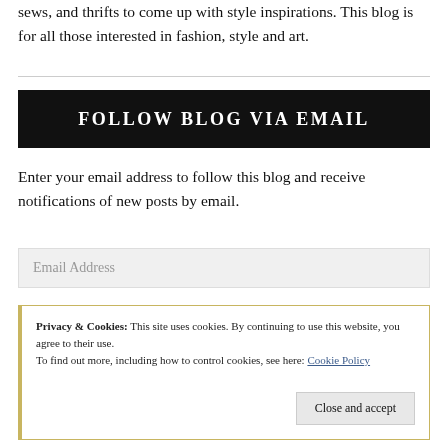sews, and thrifts to come up with style inspirations. This blog is for all those interested in fashion, style and art.
FOLLOW BLOG VIA EMAIL
Enter your email address to follow this blog and receive notifications of new posts by email.
Email Address
Privacy & Cookies: This site uses cookies. By continuing to use this website, you agree to their use.
To find out more, including how to control cookies, see here: Cookie Policy
Close and accept